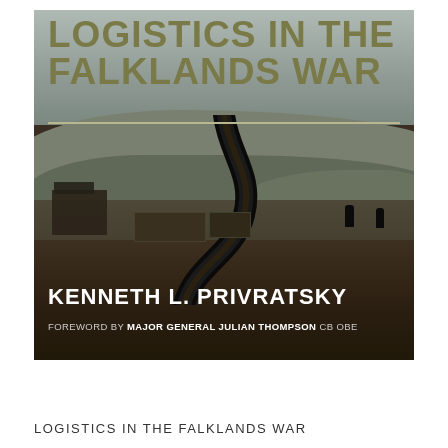[Figure (illustration): Book cover for 'Logistics in the Falklands War' by Kenneth L. Privratsky, with foreword by Major General Julian Thompson CB OBE. Dark cover with title in olive/khaki letters at top, a horizontal rule, a photograph of soldiers in a rugged landscape with a large curved dark shape (possibly a ship or structure element), and author name in white at the bottom.]
LOGISTICS IN THE FALKLANDS WAR